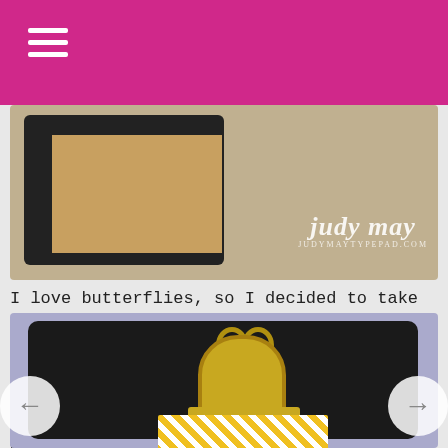Navigation bar with hamburger menu icon
[Figure (photo): Close-up photo of a crafting project with a dark frame holding kraft/tan paper, with 'judy may' handwritten watermark text overlaid in white, and JUDYMAYTYPEPAD.COM subtitle. Background is gray.]
I love butterflies, so I decided to take the idea from the butterfly art piece (top row, 5th from the left in the first photo) and add some larger die cut butterflies. I've used the doily, the smaller butterflies and the stamped wooden label from the kit.
[Figure (photo): Close-up photo of a gold binder/bulldog clip on a dark clipboard, with yellow and white diagonal striped washi tape or paper visible at the bottom. Background is light purple/lavender.]